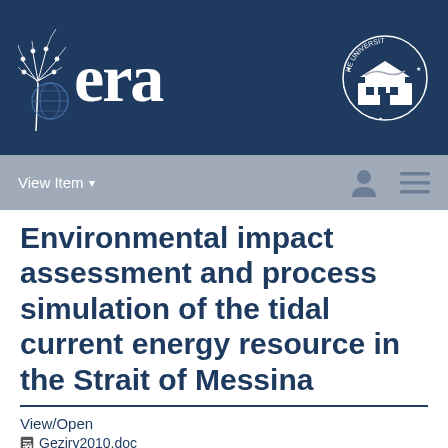[Figure (logo): ERA institutional repository logo with dandelion graphic and globe, white text on dark navy background, alongside HE University circular logo]
View Item ▾
Environmental impact assessment and process simulation of the tidal current energy resource in the Strait of Messina
View/Open
🔒 Geziry2010.doc (31.41Mb)
Geziry2010.pdf (11.44Mb)